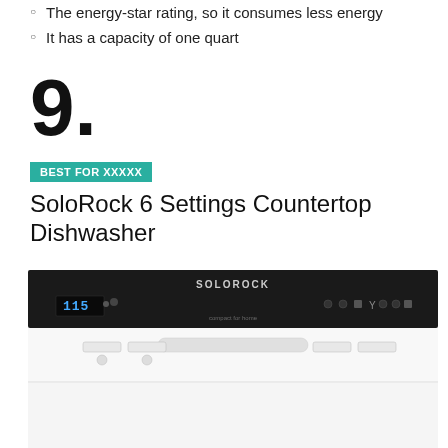The energy-star rating, so it consumes less energy
It has a capacity of one quart
9.
BEST FOR XXXXX
SoloRock 6 Settings Countertop Dishwasher
[Figure (photo): SoloRock countertop dishwasher product photo showing white unit with black control panel at top, SOLOROCK branding, digital display and control buttons]